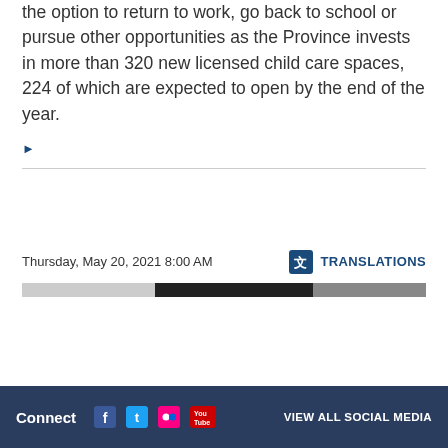the option to return to work, go back to school or pursue other opportunities as the Province invests in more than 320 new licensed child care spaces, 224 of which are expected to open by the end of the year.
▶
Thursday, May 20, 2021 8:00 AM
[Figure (screenshot): Translations icon and label link]
[Figure (photo): Partial dark image bar]
Connect  VIEW ALL SOCIAL MEDIA (Facebook, Twitter, Flickr, YouTube icons)